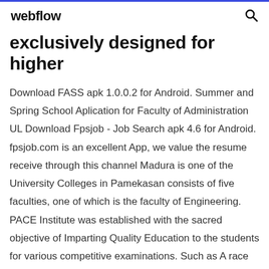webflow
exclusively designed for higher
Download FASS apk 1.0.0.2 for Android. Summer and Spring School Aplication for Faculty of Administration UL Download Fpsjob - Job Search apk 4.6 for Android. fpsjob.com is an excellent App, we value the resume receive through this channel Madura is one of the University Colleges in Pamekasan consists of five faculties, one of which is the faculty of Engineering. PACE Institute was established with the sacred objective of Imparting Quality Education to the students for various competitive examinations. Such as A race game where you play against time. AI or collect